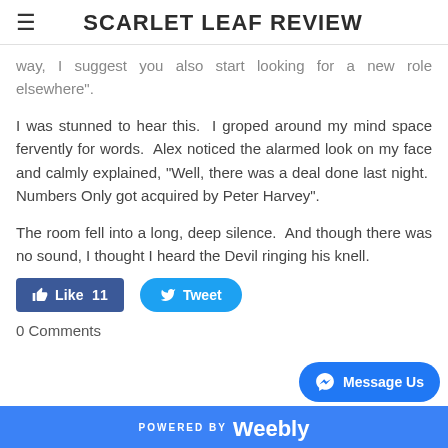SCARLET LEAF REVIEW
way,  I suggest you also start looking for a new role elsewhere".
I was stunned to hear this.  I groped around my mind space fervently for words.  Alex noticed the alarmed look on my face and calmly explained, "Well, there was a deal done last night.  Numbers Only got acquired by Peter Harvey".
The room fell into a long, deep silence.  And though there was no sound, I thought I heard the Devil ringing his knell.
Like 11   Tweet
0 Comments
POWERED BY weebly